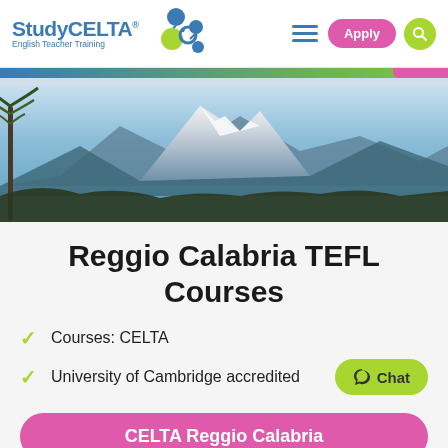[Figure (logo): StudyCELTA logo with English Teacher Training text and molecular/atom icon]
[Figure (photo): Hero landscape photo showing snow-capped mountain (likely Mount Etna or similar Italian/Sicilian volcano) with blue sky, palm tree in foreground, and blue water at the bottom]
Reggio Calabria TEFL Courses
Courses: CELTA
University of Cambridge accredited
Chat
CELTA Reggio Calabria